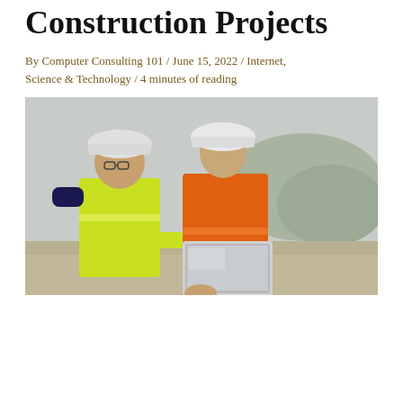Construction Projects
By Computer Consulting 101 / June 15, 2022 / Internet, Science & Technology / 4 minutes of reading
[Figure (photo): Two construction workers in hard hats and high-visibility vests (one yellow, one orange) looking at a laptop on a construction site outdoors]
Share this post:
[Figure (infographic): Row of dark brown social media share icon buttons: Facebook, Twitter, Reddit, LinkedIn, Pinterest, Email, Tumblr, Share]